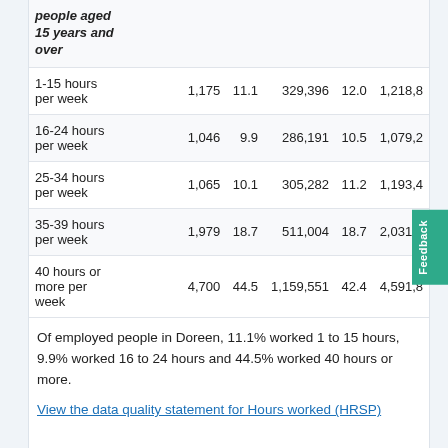|  |  |  |  |  |  |
| --- | --- | --- | --- | --- | --- |
| people aged
15 years and
over |  |  |  |  |  |
| 1-15 hours per week | 1,175 | 11.1 | 329,396 | 12.0 | 1,218,8… |
| 16-24 hours per week | 1,046 | 9.9 | 286,191 | 10.5 | 1,079,2… |
| 25-34 hours per week | 1,065 | 10.1 | 305,282 | 11.2 | 1,193,4… |
| 35-39 hours per week | 1,979 | 18.7 | 511,004 | 18.7 | 2,031,2… |
| 40 hours or more per week | 4,700 | 44.5 | 1,159,551 | 42.4 | 4,591,8… |
Of employed people in Doreen, 11.1% worked 1 to 15 hours, 9.9% worked 16 to 24 hours and 44.5% worked 40 hours or more.
View the data quality statement for Hours worked (HRSP)